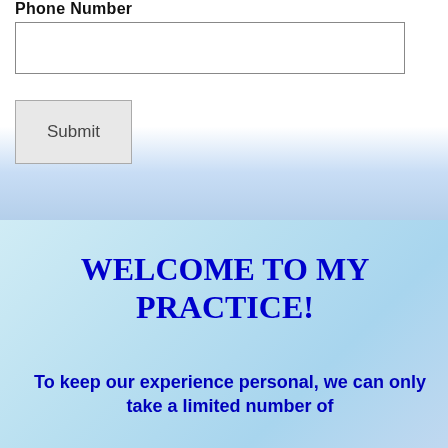Phone Number
[input field]
Submit
WELCOME TO MY PRACTICE!
To keep our experience personal, we can only take a limited number of patients. Enroll today to...